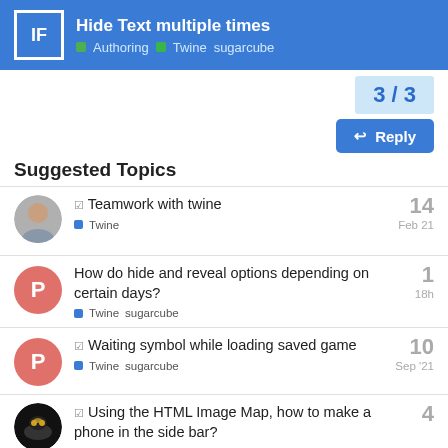Hide Text multiple times — Authoring · Twine sugarcube
3 / 3
Reply
Suggested Topics
Teamwork with twine — Twine — 14 replies — Feb 21
How do hide and reveal options depending on certain days? — Twine sugarcube — 1 reply — 18h
Waiting symbol while loading saved game — Twine sugarcube — 10 replies — Sep '21
Using the HTML Image Map, how to make a phone in the side bar? — 4 replies